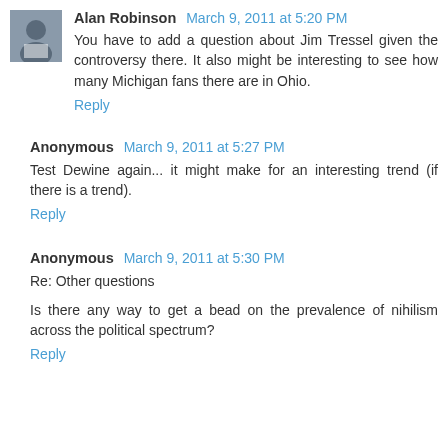[Figure (photo): Small avatar photo of Alan Robinson, a person in a white shirt]
Alan Robinson March 9, 2011 at 5:20 PM
You have to add a question about Jim Tressel given the controversy there. It also might be interesting to see how many Michigan fans there are in Ohio.
Reply
Anonymous March 9, 2011 at 5:27 PM
Test Dewine again... it might make for an interesting trend (if there is a trend).
Reply
Anonymous March 9, 2011 at 5:30 PM
Re: Other questions
Is there any way to get a bead on the prevalence of nihilism across the political spectrum?
Reply